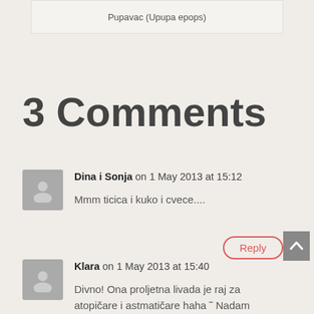Pupavac (Upupa epops)
3 Comments
Dina i Sonja on 1 May 2013 at 15:12
Mmm ticica i kuko i cvece....
Reply
Klara on 1 May 2013 at 15:40
Divno! Ona proljetna livada je raj za atopičare i astmatičare haha  Nadam